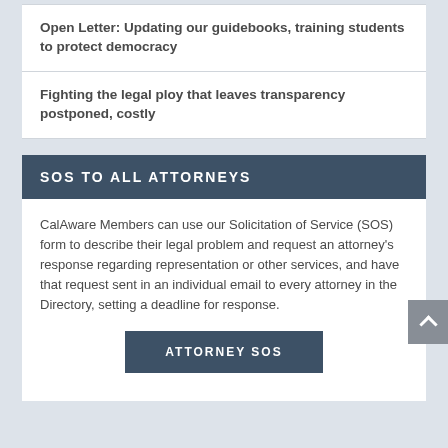Open Letter: Updating our guidebooks, training students to protect democracy
Fighting the legal ploy that leaves transparency postponed, costly
SOS TO ALL ATTORNEYS
CalAware Members can use our Solicitation of Service (SOS) form to describe their legal problem and request an attorney's response regarding representation or other services, and have that request sent in an individual email to every attorney in the Directory, setting a deadline for response.
ATTORNEY SOS